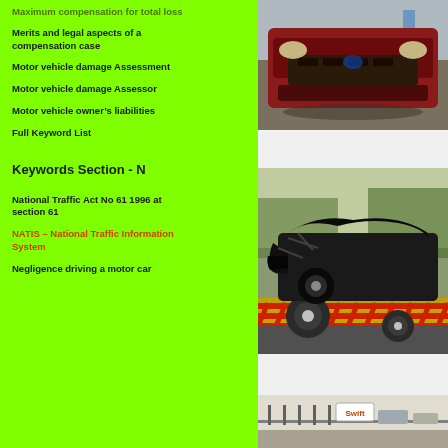Maximum compensation for total loss
Merits and legal aspects of a compensation case
Motor vehicle damage Assessment
Motor vehicle damage Assessor
Motor vehicle owner's liabilities
Full Keyword List
[Figure (photo): Front view of a damaged red Ford vehicle with crushed grille and bumper]
Keywords Section - N
National Traffic Act No 61 1996 at section 61
NATIS – National Traffic Information System
Negligence driving a motor car
[Figure (photo): Heavily damaged black vehicle loaded on a tow truck with red and yellow striped ramp]
[Figure (photo): Partial view of vehicles near a Swift branded facility]